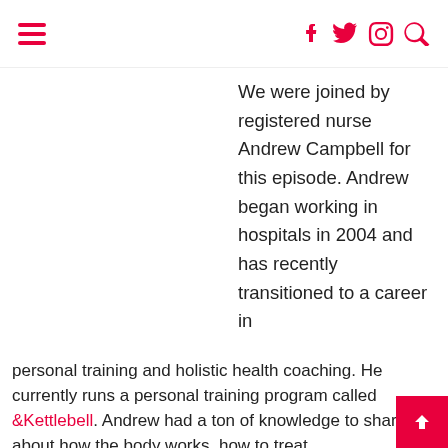[hamburger menu] [facebook] [twitter] [instagram] [search]
We were joined by registered nurse Andrew Campbell for this episode. Andrew began working in hospitals in 2004 and has recently transitioned to a career in personal training and holistic health coaching. He currently runs a personal training program called &Kettlebell. Andrew had a ton of knowledge to share about how the body works, how to treat